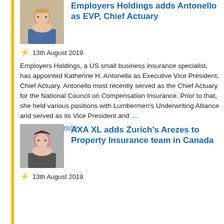[Figure (photo): Headshot of Katherine H. Antonello, woman with blonde hair and glasses]
Employers Holdings adds Antonello as EVP, Chief Actuary
13th August 2019
Employers Holdings, a US small business insurance specialist, has appointed Katherine H. Antonello as Executive Vice President, Chief Actuary. Antonello most recently served as the Chief Actuary for the National Council on Compensation Insurance. Prior to that, she held various positions with Lumbermen's Underwriting Alliance and served as its Vice President and ...
Read the full article
[Figure (photo): Headshot of woman, Arezes, dark hair]
AXA XL adds Zurich's Arezes to Property Insurance team in Canada
13th August 2019